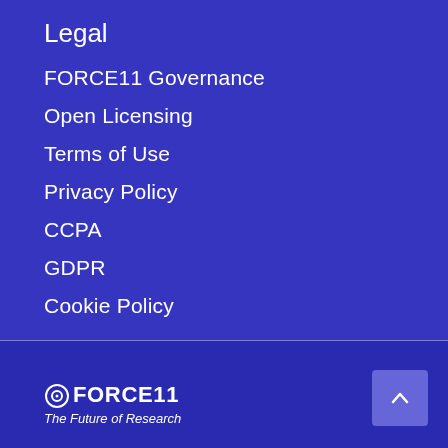Legal
FORCE11 Governance
Open Licensing
Terms of Use
Privacy Policy
CCPA
GDPR
Cookie Policy
©FORCE11 The Future of Research